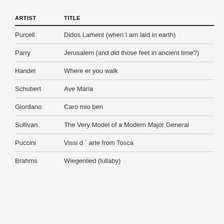| ARTIST | TITLE |
| --- | --- |
| Purcell | Didos Lament (when I am laid in earth) |
| Parry | Jerusalem (and did those feet in ancient time?) |
| Handel | Where er you walk |
| Schubert | Ave Maria |
| Giordano | Caro mio ben |
| Sullivan | The Very Model of a Modern Major General |
| Puccini | Vissi d ` arte from Tosca |
| Brahms | Wiegenlied (lullaby) |